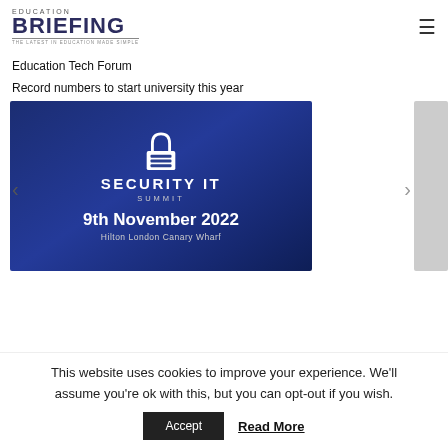EDUCATION BRIEFING — THE LATEST IN EDUCATION MADE SIMPLE
Education Tech Forum
Record numbers to start university this year
[Figure (illustration): Security IT Summit banner: dark blue gradient background with white padlock icon above server stack, text 'SECURITY IT SUMMIT', '9th November 2022', 'Hilton London Canary Wharf'. Left arrow and right arrow navigation controls visible.]
This website uses cookies to improve your experience. We'll assume you're ok with this, but you can opt-out if you wish. Accept  Read More